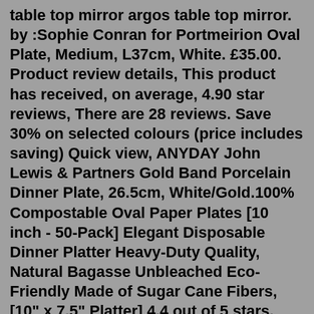table top mirror argos table top mirror. by :Sophie Conran for Portmeirion Oval Plate, Medium, L37cm, White. £35.00. Product review details, This product has received, on average, 4.90 star reviews, There are 28 reviews. Save 30% on selected colours (price includes saving) Quick view, ANYDAY John Lewis & Partners Gold Band Porcelain Dinner Plate, 26.5cm, White/Gold.100% Compostable Oval Paper Plates [10 inch - 50-Pack] Elegant Disposable Dinner Platter Heavy-Duty Quality, Natural Bagasse Unbleached Eco-Friendly Made of Sugar Cane Fibers, [10" x 7.5" Platter] 4.4 out of 5 stars. 1,501. $15.99. MALACASA Dinner Sets, 26-Piece Ivory White Porcelain Plates and Bowls Set with 6-Piece Dinner Plate/Soup Plate/Dessert Plate/Bowl and 2 Serving Platters, Square Wave Dinnerware Set Service for 6, Series Flora. 3,406. -11%£7099£79.99. Save 5% with voucher. Get it Monday, Jul 18 - Tuesday, Jul 19.Emma Bridgewater Polka Dot Plate . £17.95 £17.95 each. Add to trolley. Other. Morrisons Duck Egg Marble Round Tray. Helps you sell. Lots